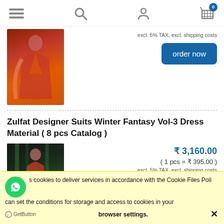Navigation header with menu, search, account, and cart icons. Cart shows badge: 0
excl. 5% TAX, excl. shipping costs
[Figure (photo): Woman in orange/red traditional Indian dress (salwar suit) posing in a dark studio]
order now
Zulfat Designer Suits Winter Fantasy Vol-3 Dress Material ( 8 pcs Catalog )
₹ 3,160.00 ( 1 pcs = ₹ 395.00 ) excl. 5% TAX, excl. shipping costs
[Figure (photo): Woman in red dress against dark green bamboo/forest background]
This site uses cookies to deliver services in accordance with the Cookie Files Policy. You can set the conditions for storage and access to cookies in your browser settings. ✕